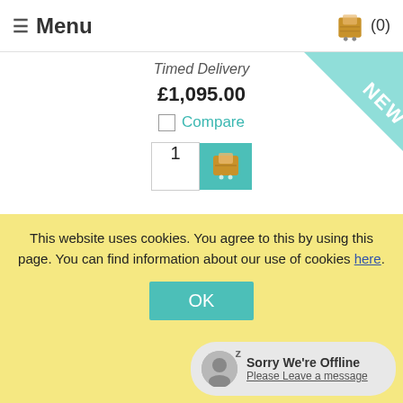≡ Menu  (0)
Timed Delivery
£1,095.00
Compare
[Figure (other): NEW ribbon badge in teal/aqua color with bold white diagonal text]
This website uses cookies. You agree to this by using this page. You can find information about our use of cookies here.
OK
Sorry We're Offline
Please Leave a message